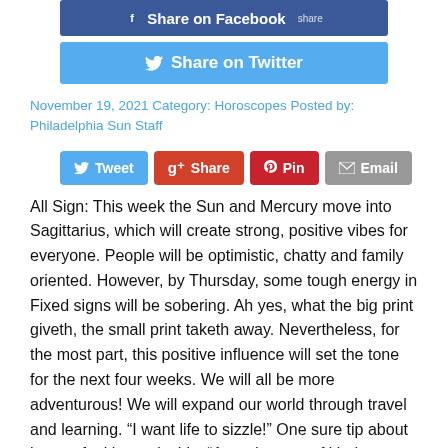[Figure (other): Share on Facebook button (dark blue)]
[Figure (other): Share on Twitter button (light blue)]
November 19, 2021 Category: Horoscopes Posted by: Philadelphia Sun Staff
[Figure (other): Social sharing buttons row: Tweet, Share (Google+), Pin, Email]
All Sign: This week the Sun and Mercury move into Sagittarius, which will create strong, positive vibes for everyone. People will be optimistic, chatty and family oriented. However, by Thursday, some tough energy in Fixed signs will be sobering. Ah yes, what the big print giveth, the small print taketh away. Nevertheless, for the most part, this positive influence will set the tone for the next four weeks. We will all be more adventurous! We will expand our world through travel and learning. “I want life to sizzle!” One sure tip about how to feel better is this: “A random act of kindness, no matter how small, can make a